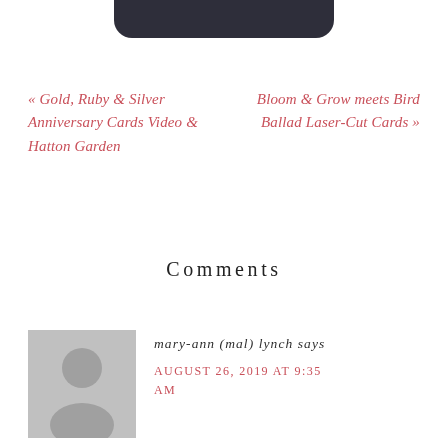[Figure (other): Dark rounded navigation bar cropped at top of page]
« Gold, Ruby & Silver Anniversary Cards Video & Hatton Garden
Bloom & Grow meets Bird Ballad Laser-Cut Cards »
Comments
mary-ann (mal) lynch says
AUGUST 26, 2019 AT 9:35 AM